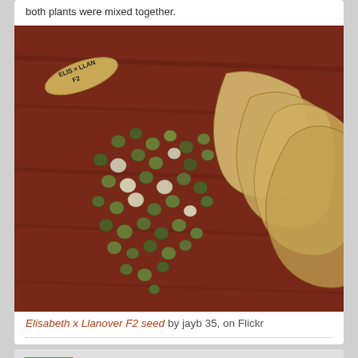both plants were mixed together.
[Figure (photo): Photo of Elisabeth x Llanover F2 pea seeds scattered on a wooden surface next to dried pea pods. A labeled seed packet in the upper left reads 'ELIS x LLAN F2'.]
Elisabeth x Llanover F2 seed by jayb 35, on Flickr
jayb
Enjoying the scenery.